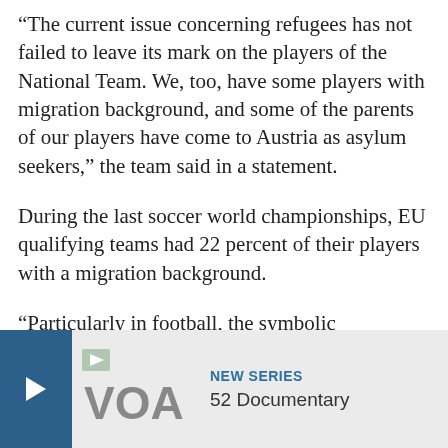“The current issue concerning refugees has not failed to leave its mark on the players of the National Team. We, too, have some players with migration background, and some of the parents of our players have come to Austria as asylum seekers,” the team said in a statement.
During the last soccer world championships, EU qualifying teams had 22 percent of their players with a migration background.
“Particularly in football, the symbolic representation of diversity and inclusion can be seen in the lineups of many top clubs and national teams,” said Kurt Wachter, from the Vienna Institute for International Dialogue and C…
“Look how go… official recentl…
[Figure (other): VOA advertisement overlay with blue arrow button, VOA logo, NEW SERIES label, and 52 Documentary text]